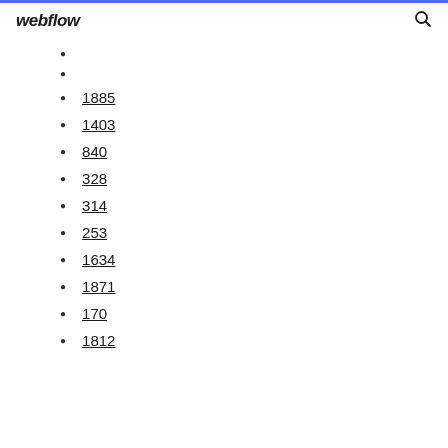webflow
1885
1403
840
328
314
253
1634
1871
170
1812